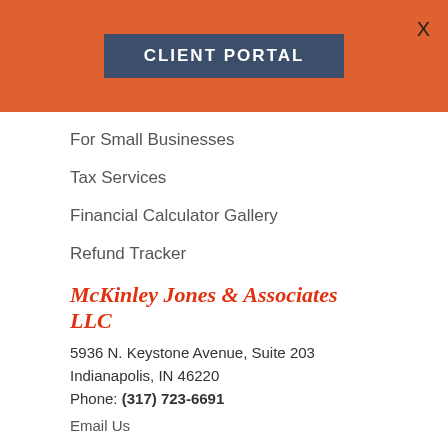CLIENT PORTAL
For Small Businesses
Tax Services
Financial Calculator Gallery
Refund Tracker
McKinley Jones & Associates LLC
5936 N. Keystone Avenue, Suite 203
Indianapolis, IN 46220
Phone: (317) 723-6691
Email Us
Availability
Call (317) 723-6691 to schedule your appointment